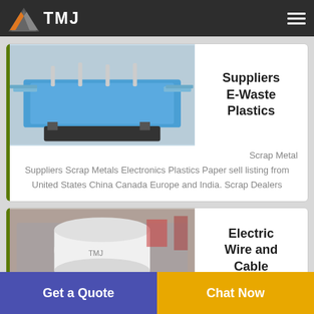TMJ
[Figure (photo): Blue industrial shredder/separator machine with trays]
Suppliers E-Waste Plastics
Scrap Metal Suppliers Scrap Metals Electronics Plastics Paper sell listing from United States China Canada Europe and India. Scrap Dealers
[Figure (photo): Industrial electric wire and cable processing machine, white cylindrical roller]
Electric Wire and Cable
Get a Quote | Chat Now